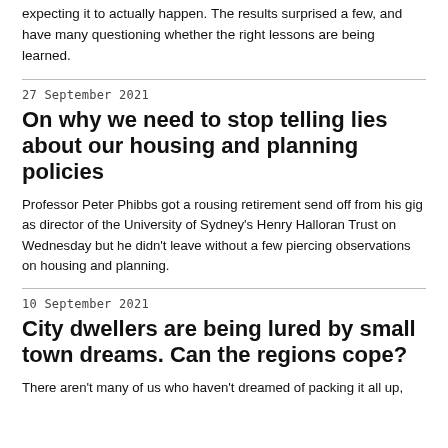expecting it to actually happen. The results surprised a few, and have many questioning whether the right lessons are being learned.
27 September 2021
On why we need to stop telling lies about our housing and planning policies
Professor Peter Phibbs got a rousing retirement send off from his gig as director of the University of Sydney's Henry Halloran Trust on Wednesday but he didn't leave without a few piercing observations on housing and planning.
10 September 2021
City dwellers are being lured by small town dreams. Can the regions cope?
There aren't many of us who haven't dreamed of packing it all up, and beating the great sea, bathing the family with...